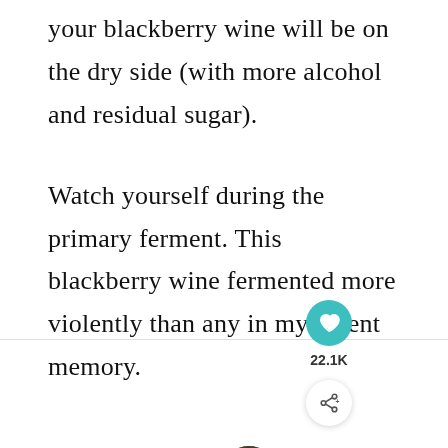your blackberry wine will be on the dry side (with more alcohol and residual sugar).
Watch yourself during the primary ferment. This blackberry wine fermented more violently than any in my recent memory.
[Figure (infographic): Social media UI overlay: heart/like button with teal circle showing 22.1K likes, share button in white circle, and a 'WHAT'S NEXT' card showing a thumbnail and text 'Blackberry Jelly Recipe...']